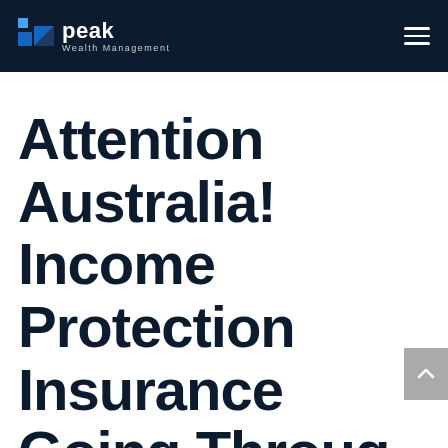Peak Wealth Management
Attention Australia! Income Protection Insurance Going Through